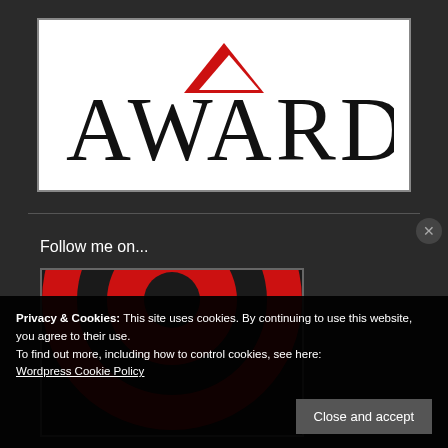[Figure (logo): Award logo with large serif text 'AWARD' and a red triangle/chevron accent above the W, on white background]
Follow me on...
[Figure (logo): Red bullseye/target circular logo (two concentric red arcs with white gap) on dark background]
Privacy & Cookies: This site uses cookies. By continuing to use this website, you agree to their use.
To find out more, including how to control cookies, see here:
Wordpress Cookie Policy
Close and accept